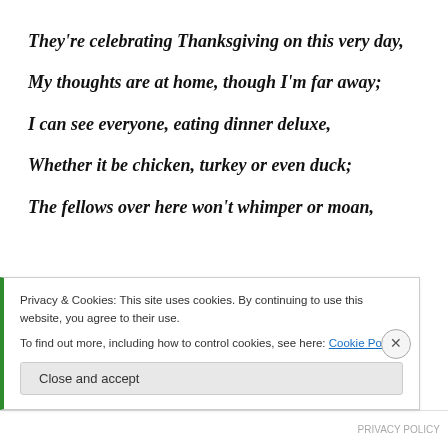They're celebrating Thanksgiving on this very day,
My thoughts are at home, though I'm far away;
I can see everyone, eating dinner deluxe,
Whether it be chicken, turkey or even duck;
The fellows over here won't whimper or moan,
Privacy & Cookies: This site uses cookies. By continuing to use this website, you agree to their use. To find out more, including how to control cookies, see here: Cookie Policy
Close and accept